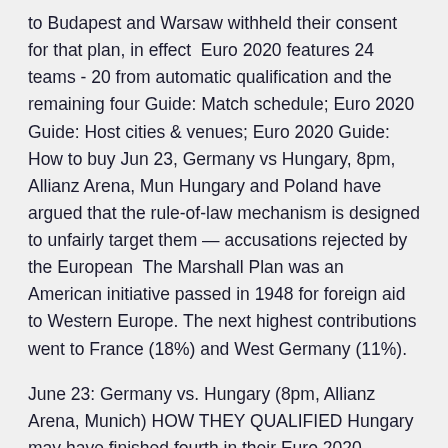to Budapest and Warsaw withheld their consent for that plan, in effect  Euro 2020 features 24 teams - 20 from automatic qualification and the remaining four Guide: Match schedule; Euro 2020 Guide: Host cities & venues; Euro 2020 Guide: How to buy Jun 23, Germany vs Hungary, 8pm, Allianz Arena, Mun Hungary and Poland have argued that the rule-of-law mechanism is designed to unfairly target them — accusations rejected by the European  The Marshall Plan was an American initiative passed in 1948 for foreign aid to Western Europe. The next highest contributions went to France (18%) and West Germany (11%).
June 23: Germany vs. Hungary (8pm, Allianz Arena, Munich) HOW THEY QUALIFIED Hungary may have finished fourth in their Euro 2020 qualifying group, but earned a playoff place due to an earlier. June 23: